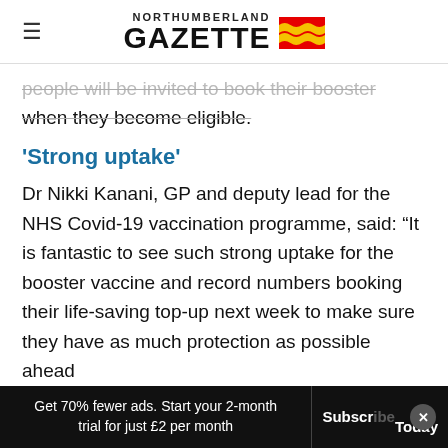NORTHUMBERLAND GAZETTE
people will be invited to book their booster when they become eligible.
'Strong uptake'
Dr Nikki Kanani, GP and deputy lead for the NHS Covid-19 vaccination programme, said: “It is fantastic to see such strong uptake for the booster vaccine and record numbers booking their life-saving top-up next week to make sure they have as much protection as possible ahead
Get 70% fewer ads. Start your 2-month trial for just £2 per month   Subscribe Today